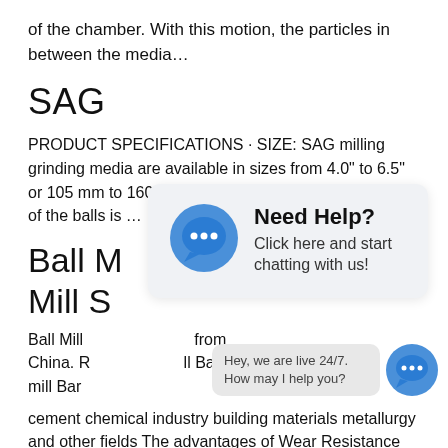of the chamber. With this motion, the particles in between the media…
SAG
PRODUCT SPECIFICATIONS · SIZE: SAG milling grinding media are available in sizes from 4.0" to 6.5" or 105 mm to 160 mm. · CHEMISTRY: The chemistry of the balls is …
Ball M… Ball Mill S…
Ball Mill… from China. R… ll Ball mill Bar…
cement chemical industry building materials metallurgy and other fields The advantages of Wear Resistance Rubber Liner are…
[Figure (other): Chat widget overlay showing 'Need Help? Click here and start chatting with us!' with a blue speech bubble icon containing three dots. A smaller chat bubble icon appears in the bottom right corner with a message bubble saying 'Hey, we are live 24/7. How may I help you?']
toggle jaw crusher with its thrust plate crusher spare parts